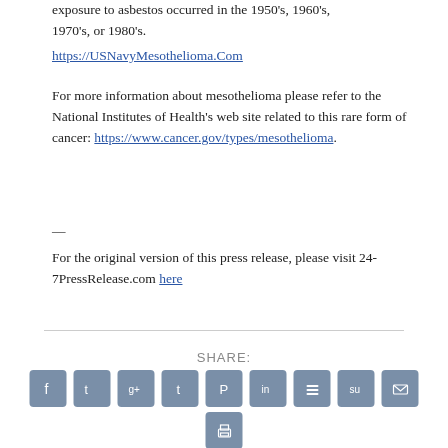Exposure to asbestos occurred in the 1950's, 1960's, 1970's, or 1980's.
https://USNavyMesothelioma.Com
For more information about mesothelioma please refer to the National Institutes of Health's web site related to this rare form of cancer: https://www.cancer.gov/types/mesothelioma.
—
For the original version of this press release, please visit 24-7PressRelease.com here
SHARE:
[Figure (other): Row of social media sharing icons: Facebook, Twitter, Google+, Tumblr, Pinterest, LinkedIn, Buffer, StumbleUpon, Email, and a print icon below]